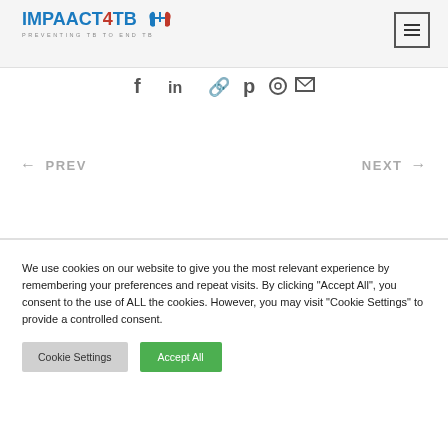[Figure (logo): IMPAACT4TB logo with lung icon and tagline PREVENTING TB TO END TB]
[Figure (infographic): Social media share icons: Facebook, LinkedIn, link/chain, Pinterest, Instagram, email]
← PREV
NEXT →
We use cookies on our website to give you the most relevant experience by remembering your preferences and repeat visits. By clicking "Accept All", you consent to the use of ALL the cookies. However, you may visit "Cookie Settings" to provide a controlled consent.
Cookie Settings
Accept All